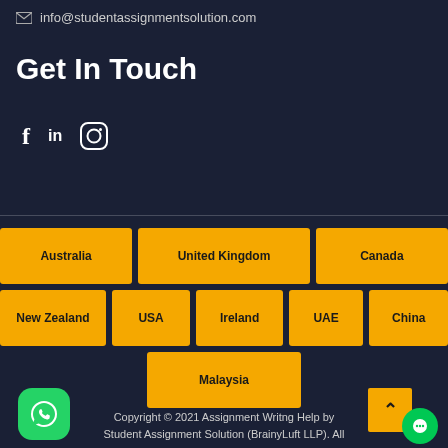info@studentassignmentsolution.com
Get In Touch
[Figure (infographic): Social media icons: Facebook (f), LinkedIn (in), Instagram (circle camera icon)]
Australia
United Kingdom
Canada
New Zealand
USA
Ireland
UAE
China
Malaysia
Copyright © 2021 Assignment Writng Help by Student Assignment Solution (BrainyLuft LLP). All